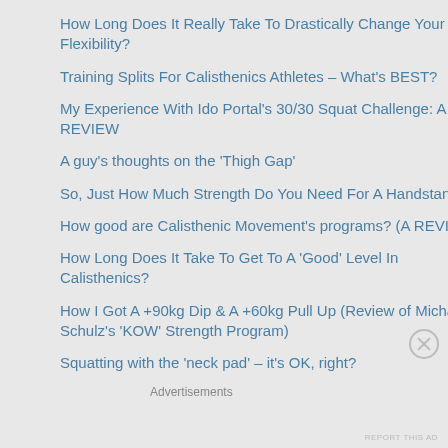How Long Does It Really Take To Drastically Change Your Flexibility?
Training Splits For Calisthenics Athletes – What's BEST?
My Experience With Ido Portal's 30/30 Squat Challenge: A REVIEW
A guy's thoughts on the 'Thigh Gap'
So, Just How Much Strength Do You Need For A Handstand?
How good are Calisthenic Movement's programs? (A REVIEW)
How Long Does It Take To Get To A 'Good' Level In Calisthenics?
How I Got A +90kg Dip & A +60kg Pull Up (Review of Micha Schulz's 'KOW' Strength Program)
Squatting with the 'neck pad' – it's OK, right?
Advertisements